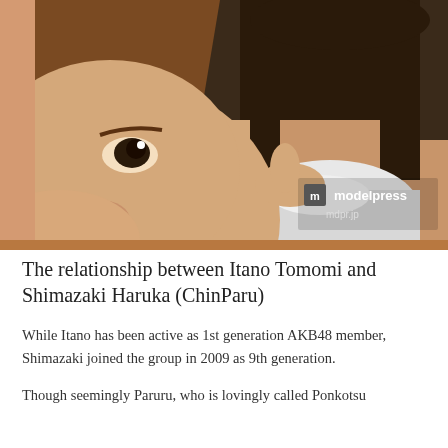[Figure (photo): Close-up photo of two young Japanese women. The foreground shows a woman with brown side-swept bangs. In the background is another woman with dark straight hair wearing a white outfit. A watermark reads 'm modelpress mdpr.jp' in the lower right corner.]
The relationship between Itano Tomomi and Shimazaki Haruka (ChinParu)
While Itano has been active as 1st generation AKB48 member, Shimazaki joined the group in 2009 as 9th generation.
Though seemingly Paruru, who is lovingly called Ponkotsu